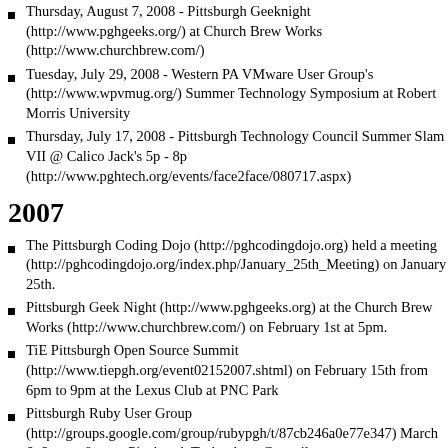Thursday, August 7, 2008 - Pittsburgh Geeknight (http://www.pghgeeks.org/) at Church Brew Works (http://www.churchbrew.com/)
Tuesday, July 29, 2008 - Western PA VMware User Group's (http://www.wpvmug.org/) Summer Technology Symposium at Robert Morris University
Thursday, July 17, 2008 - Pittsburgh Technology Council Summer Slam VII @ Calico Jack's 5p - 8p (http://www.pghtech.org/events/face2face/080717.aspx)
2007
The Pittsburgh Coding Dojo (http://pghcodingdojo.org) held a meeting (http://pghcodingdojo.org/index.php/January_25th_Meeting) on January 25th.
Pittsburgh Geek Night (http://www.pghgeeks.org) at the Church Brew Works (http://www.churchbrew.com/) on February 1st at 5pm.
TiE Pittsburgh Open Source Summit (http://www.tiepgh.org/event02152007.shtml) on February 15th from 6pm to 9pm at the Lexus Club at PNC Park
Pittsburgh Ruby User Group (http://groups.google.com/group/rubypgh/t/87cb246a0e77e347) March 6, 6pm to 8pm at Pittsburgh Technology Council